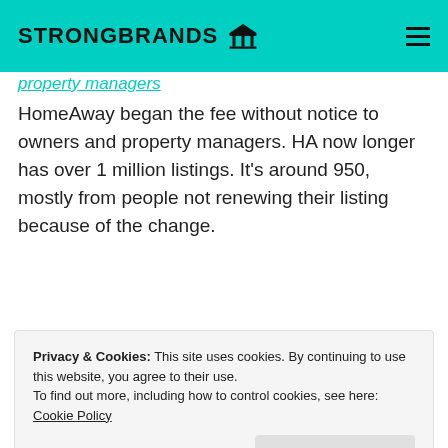STRONGBRANDS
HomeAway began the fee without notice to owners and property managers. HA now longer has over 1 million listings. It's around 950, mostly from people not renewing their listing because of the change.
Reply
OCKEGHEM says:
April 3, 2016 at 4:19 am
Privacy & Cookies: This site uses cookies. By continuing to use this website, you agree to their use.
To find out more, including how to control cookies, see here: Cookie Policy
Close and accept